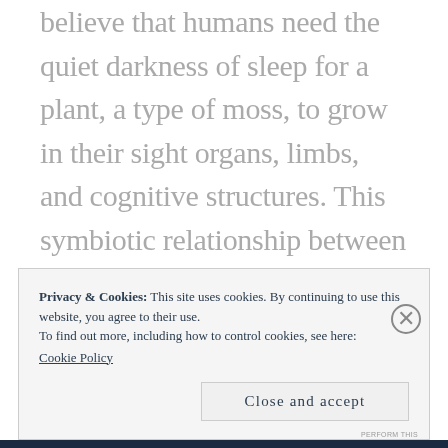believe that humans need the quiet darkness of sleep for a plant, a type of moss, to grow in their sight organs, limbs, and cognitive structures. This symbiotic relationship between moss and human provides the support necessary for humans to function properly. However, it wears down over the day with use, resulting in sagging sight
Privacy & Cookies: This site uses cookies. By continuing to use this website, you agree to their use. To find out more, including how to control cookies, see here: Cookie Policy
Close and accept